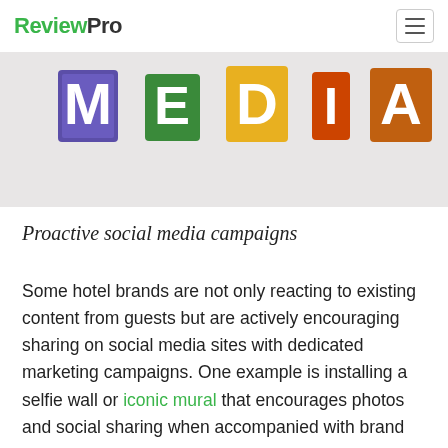ReviewPro
[Figure (photo): Colorful decorative letters spelling 'MEDIA' on a light gray background, each letter decorated with different patterns and colors including purple, green, yellow, and orange.]
Proactive social media campaigns
Some hotel brands are not only reacting to existing content from guests but are actively encouraging sharing on social media sites with dedicated marketing campaigns. One example is installing a selfie wall or iconic mural that encourages photos and social sharing when accompanied with brand